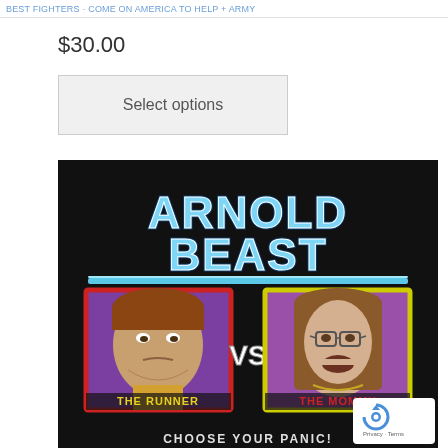BEST FIGHTERS · COME ON AMERICA TO HELP + ARMY
$30.00
Select options
[Figure (illustration): Arnold Beast retro video game style illustration. Title text 'ARNOLD BEAST' in blue icy letters at the top. Below are two character portraits side by side with VS between them. Left portrait in red frame shows 'THE RUNNER' - a muscular man with stern expression. Right portrait in yellow frame shows 'THE MOMMY' - a woman with glasses and brown hair. Text at bottom reads 'CHOOSE YOUR PANIC!' Background is black. Bottom right shows reCAPTCHA badge.]